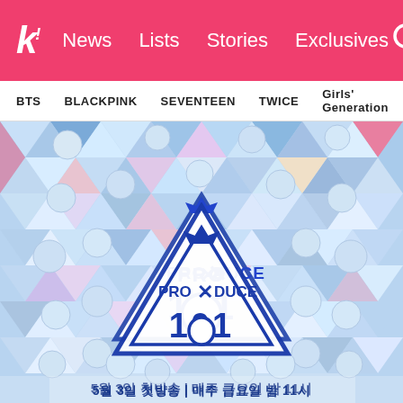k! News Lists Stories Exclusives
BTS BLACKPINK SEVENTEEN TWICE Girls' Generation
[Figure (photo): Produce X 101 promotional poster featuring many male K-pop trainees arranged around a blue geometric triangle logo with crown, text reading PRO X DUCE 101, and Korean text at bottom reading 5월 3일 첫방송 | 매주 금요일 밤 11시]